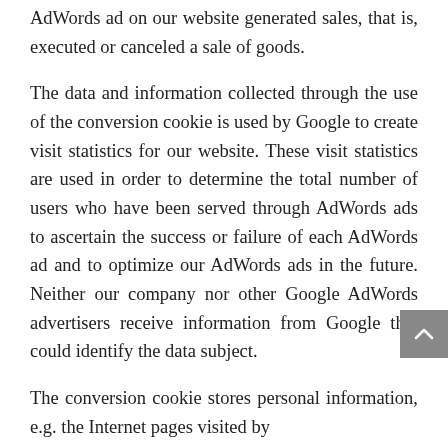AdWords ad on our website generated sales, that is, executed or canceled a sale of goods.
The data and information collected through the use of the conversion cookie is used by Google to create visit statistics for our website. These visit statistics are used in order to determine the total number of users who have been served through AdWords ads to ascertain the success or failure of each AdWords ad and to optimize our AdWords ads in the future. Neither our company nor other Google AdWords advertisers receive information from Google that could identify the data subject.
The conversion cookie stores personal information, e.g. the Internet pages visited by